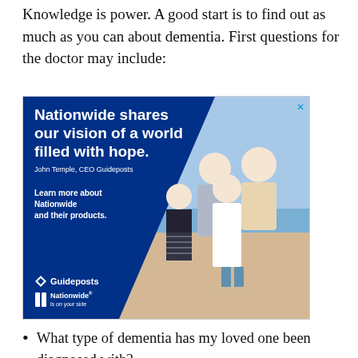Knowledge is power. A good start is to find out as much as you can about dementia. First questions for the doctor may include:
[Figure (illustration): Advertisement for Nationwide and Guideposts. Blue triangle background on the left with white bold text: 'Nationwide shares our vision of a world filled with hope.' Attribution: 'John Temple, CEO Guideposts'. Text: 'Learn more about Nationwide and their products.' Logos for Guideposts and Nationwide at bottom left. Photo of grandparents and grandchildren running on a beach on the right side. Close button (X) in top right corner.]
What type of dementia has my loved one been diagnosed with?